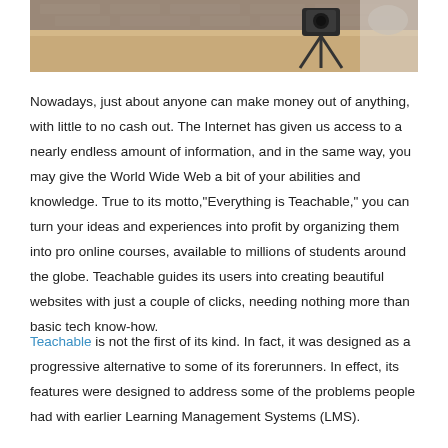[Figure (photo): Photo showing a wooden table top with a camera/tripod setup and a person in the background, in a room with brick wall.]
Nowadays, just about anyone can make money out of anything, with little to no cash out. The Internet has given us access to a nearly endless amount of information, and in the same way, you may give the World Wide Web a bit of your abilities and knowledge. True to its motto,"Everything is Teachable," you can turn your ideas and experiences into profit by organizing them into pro online courses, available to millions of students around the globe. Teachable guides its users into creating beautiful websites with just a couple of clicks, needing nothing more than basic tech know-how.
Teachable is not the first of its kind. In fact, it was designed as a progressive alternative to some of its forerunners. In effect, its features were designed to address some of the problems people had with earlier Learning Management Systems (LMS).